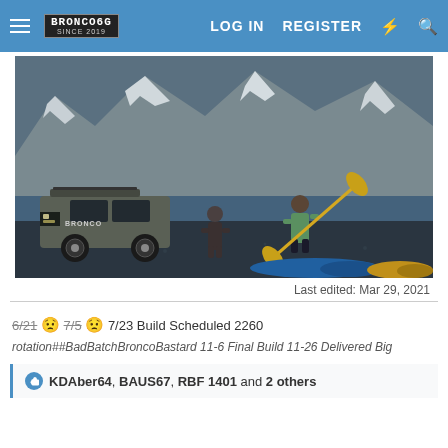Bronco6G.com — LOG IN  REGISTER
[Figure (photo): Ford Bronco SUV parked on a rocky shoreline near snow-capped mountains, with people holding kayak paddles and kayaks visible in the foreground]
Last edited: Mar 29, 2021
6/21 😟 7/5 😟 7/23 Build Scheduled 2260 rotation##BadBatchBroncoBastard 11-6 Final Build 11-26 Delivered Big
👍 KDAber64, BAUS67, RBF 1401 and 2 others